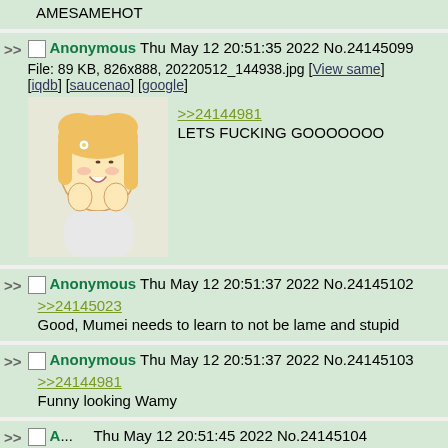AMESAMEHOT
Anonymous Thu May 12 20:51:35 2022 No.24145099
File: 89 KB, 826x888, 20220512_144938.jpg [View same] [iqdb] [saucenao] [google]
>>24144981
LETS FUCKING GOOOOOOO
Anonymous Thu May 12 20:51:37 2022 No.24145102
>>24145023
Good, Mumei needs to learn to not be lame and stupid
Anonymous Thu May 12 20:51:37 2022 No.24145103
>>24144981
Funny looking Wamy
Anonymous Thu May 12 20:51:45 2022 No.24145104